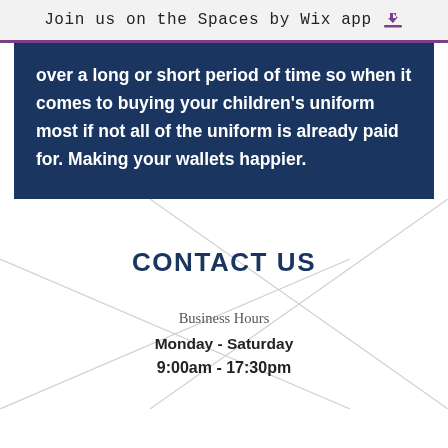Join us on the Spaces by Wix app ⬇
over a long or short period of time so when it comes to buying your children's uniform most if not all of the uniform is already paid for. Making your wallets happier.
CONTACT US
Business Hours
Monday - Saturday
9:00am - 17:30pm